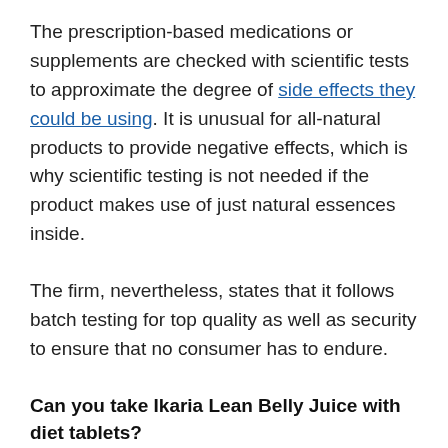The prescription-based medications or supplements are checked with scientific tests to approximate the degree of side effects they could be using. It is unusual for all-natural products to provide negative effects, which is why scientific testing is not needed if the product makes use of just natural essences inside.
The firm, nevertheless, states that it follows batch testing for top quality as well as security to ensure that no consumer has to endure.
Can you take Ikaria Lean Belly Juice with diet tablets?